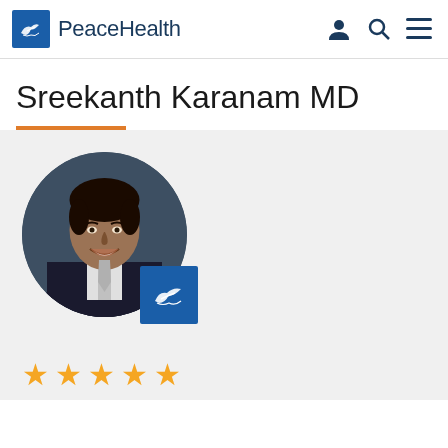PeaceHealth
Sreekanth Karanam MD
[Figure (photo): Circular headshot photo of Dr. Sreekanth Karanam, a male physician smiling, wearing a dark suit and light tie, with a PeaceHealth logo badge in the lower right of the photo area.]
★★★★★